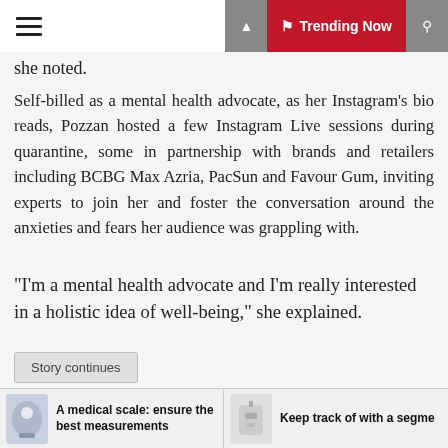Trending Now
she noted.
Self-billed as a mental health advocate, as her Instagram's bio reads, Pozzan hosted a few Instagram Live sessions during quarantine, some in partnership with brands and retailers including BCBG Max Azria, PacSun and Favour Gum, inviting experts to join her and foster the conversation around the anxieties and fears her audience was grappling with.
“I’m a mental health advocate and I’m really interested in a holistic idea of well-being,” she explained.
Story continues
“We forget quite early, as children, to be self-confident because we’re constantly reminded about what not to do, so we end up internalizing a list of don’ts — don’t be like
A medical scale: ensure the best measurements
Keep track of with a segme